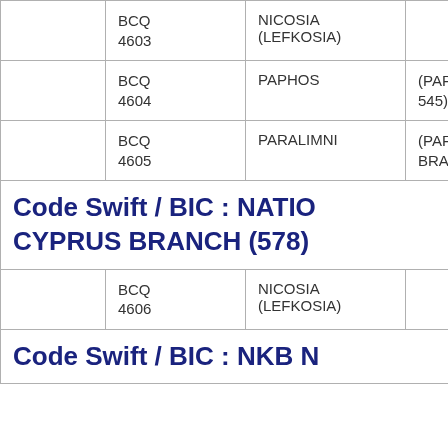|  | BCQ
4603 | NICOSIA (LEFKOSIA) |  |
|  | BCQ
4604 | PAPHOS | (PAPHOS B 545) |
|  | BCQ
4605 | PARALIMNI | (PARALIMNI BRANCH 5 |
Code Swift / BIC : NATIO CYPRUS BRANCH (578)
|  | BCQ
4606 | NICOSIA (LEFKOSIA) |  |
Code Swift / BIC : NKB N